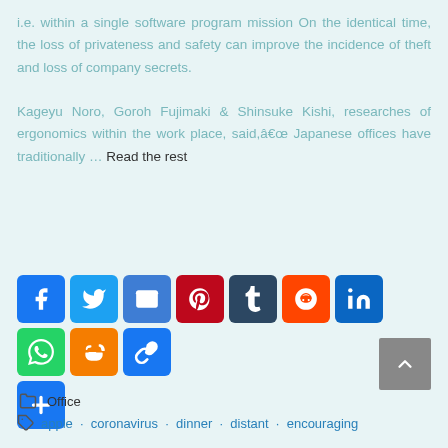i.e. within a single software program mission On the identical time, the loss of privateness and safety can improve the incidence of theft and loss of company secrets.

Kageyu Noro, Goroh Fujimaki & Shinsuke Kishi, researches of ergonomics within the work place, said,â€œ Japanese offices have traditionally … Read the rest
[Figure (infographic): Social sharing icons row: Facebook, Twitter, Email, Pinterest, Tumblr, Reddit, LinkedIn, WhatsApp, Blogger, Copy Link, AddToAny plus button]
Office
apple · coronavirus · dinner · distant · encouraging